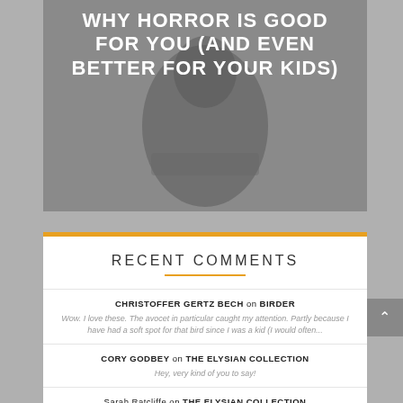WHY HORROR IS GOOD FOR YOU (AND EVEN BETTER FOR YOUR KIDS)
RECENT COMMENTS
CHRISTOFFER GERTZ BECH on BIRDER
Wow. I love these. The avocet in particular caught my attention. Partly because I have had a soft spot for that bird since I was a kid (I would often...
CORY GODBEY on THE ELYSIAN COLLECTION
Hey, very kind of you to say!
Sarah Ratcliffe on THE ELYSIAN COLLECTION